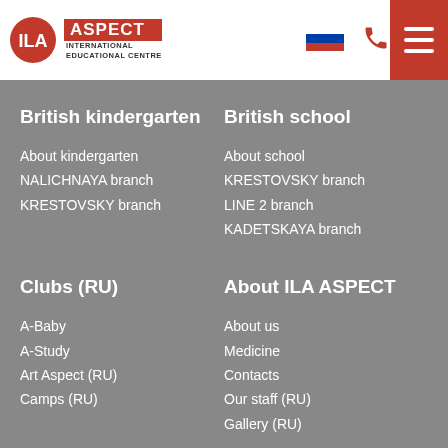[Figure (logo): ILA ASPECT International Educational Centre logo with red circle ILA emblem and ASPECT text in red box]
[Figure (other): Russian flag icon]
[Figure (other): Red phone icon]
[Figure (other): White hamburger menu icon on red background]
British kindergarten
About kindergarten
NALICHNAYA branch
KRESTOVSKY branch
British school
About school
KRESTOVSKY branch
LINE 2 branch
KADETSKAYA branch
Clubs (RU)
A-Baby
A-Study
Art Aspect (RU)
Camps (RU)
About ILA ASPECT
About us
Medicine
Contacts
Our staff (RU)
Gallery (RU)